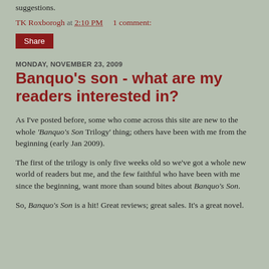suggestions.
TK Roxborogh at 2:10 PM    1 comment:
Share
MONDAY, NOVEMBER 23, 2009
Banquo's son - what are my readers interested in?
As I've posted before, some who come across this site are new to the whole 'Banquo's Son Trilogy' thing; others have been with me from the beginning (early Jan 2009).
The first of the trilogy is only five weeks old so we've got a whole new world of readers but me, and the few faithful who have been with me since the beginning, want more than sound bites about Banquo's Son.
So, Banquo's Son is a hit! Great reviews; great sales. It's a great novel.